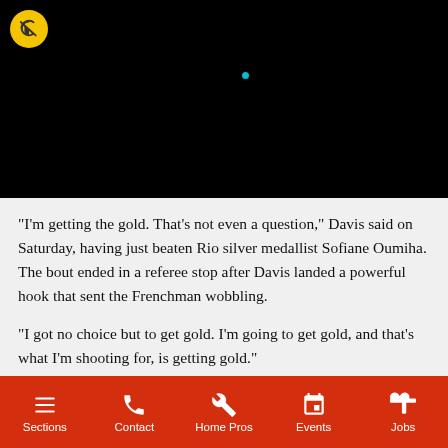[Figure (screenshot): Black video player with muted icon (yellow circle with mute symbol) in top-left, and a small blue dot visible in the middle area]
“I’m getting the gold. That’s not even a question,” Davis said on Saturday, having just beaten Rio silver medallist Sofiane Oumiha. The bout ended in a referee stop after Davis landed a powerful hook that sent the Frenchman wobbling.
“I got no choice but to get gold. I’m going to get gold, and that’s what I’m shooting for, is getting gold.”
Sections | Contact | Home Pros | Events | Jobs